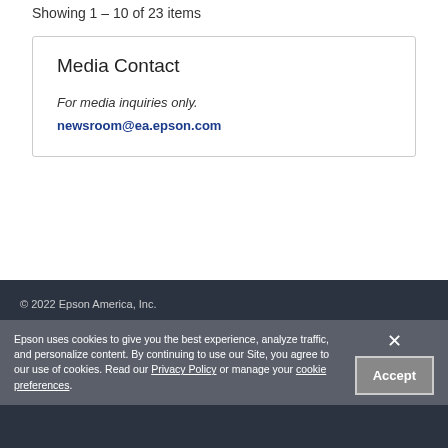Showing 1 – 10 of 23 items
Media Contact
For media inquiries only.
newsroom@ea.epson.com
© 2022 Epson America, Inc.
Epson uses cookies to give you the best experience, analyze traffic, and personalize content. By continuing to use our Site, you agree to our use of cookies. Read our Privacy Policy or manage your cookie preferences.